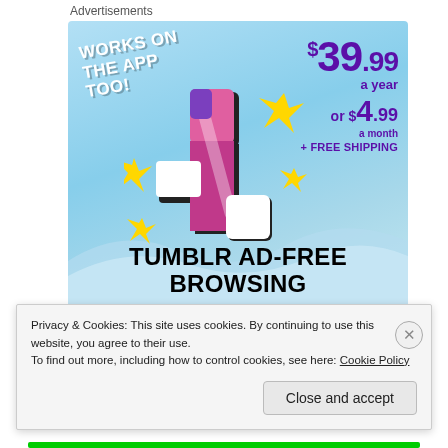Advertisements
[Figure (illustration): Tumblr Ad-Free Browsing advertisement banner with a light blue sky background. Shows Tumblr logo (stylized 't' in pink/purple/white), yellow sparkle stars, text 'WORKS ON THE APP TOO!' in white on the left, pricing '$39.99 a year or $4.99 a month + FREE SHIPPING' in purple on the right, and 'TUMBLR AD-FREE BROWSING' in large black bold text at the bottom.]
REPORT THIS AD
Rate this:
Privacy & Cookies: This site uses cookies. By continuing to use this website, you agree to their use.
To find out more, including how to control cookies, see here: Cookie Policy
Close and accept